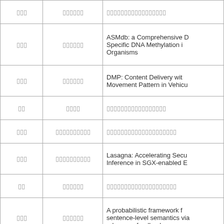| [redacted] | [redacted] | [redacted] |
| --- | --- | --- |
| [redacted] | [redacted] | [redacted] |
| [redacted] | [redacted] | ASMdb: a Comprehensive D... Specific DNA Methylation i... Organisms |
| [redacted] | [redacted] | DMP: Content Delivery wit... Movement Pattern in Vehicu... |
| [redacted] | [redacted] | [redacted] |
| [redacted] | [redacted] | [redacted] |
| [redacted] | [redacted] | Lasagna: Accelerating Secu... Inference in SGX-enabled E... |
| [redacted] | [redacted] | [redacted] |
| [redacted] | [redacted] | A probabilistic framework f... sentence-level semantics via... relevance feedback |
| [redacted] | [redacted] | Event-Dense Cross-modal T... |
| [redacted] | [redacted] | [redacted] |
| [redacted] | [redacted] | [redacted] |